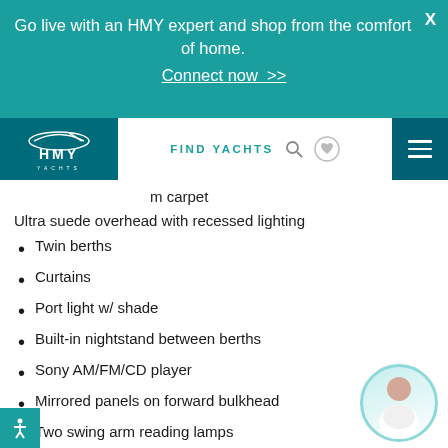Go live with an HMY expert and shop from the comfort of home. Connect now >>
[Figure (logo): HMY Yachts logo with navigation bar including FIND YACHTS search, heart icon, and hamburger menu]
m carpet
Ultra suede overhead with recessed lighting
Twin berths
Curtains
Port light w/ shade
Built-in nightstand between berths
Sony AM/FM/CD player
Mirrored panels on forward bulkhead
Two swing arm reading lamps
Hanging locker with light
Ensuite head w/day access
Wood floor and grate
Marble countertop and sink
Mirrored panels above sink